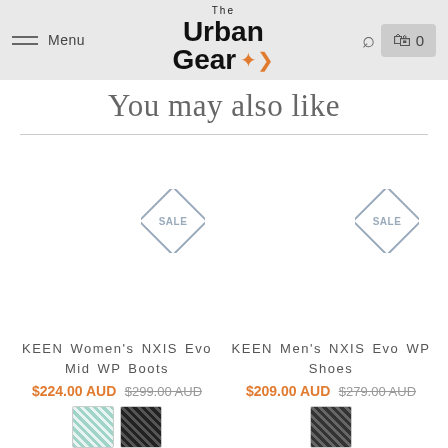The Urban Gear — Menu | Search | Cart 0
You may also like
KEEN Women's NXIS Evo Mid WP Boots
$224.00 AUD  $299.00 AUD
KEEN Men's NXIS Evo WP Shoes
$209.00 AUD  $279.00 AUD